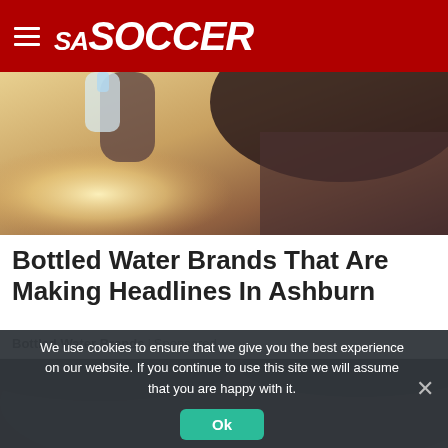SA SOCCER
[Figure (photo): Person drinking from a water bottle, backlit with warm sunlight]
Bottled Water Brands That Are Making Headlines In Ashburn
Bottled Water Brands | Sponsored
[Figure (photo): Close-up of two people's foreheads/hair]
We use cookies to ensure that we give you the best experience on our website. If you continue to use this site we will assume that you are happy with it.